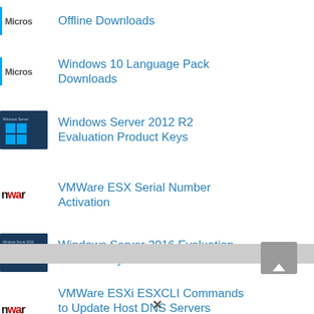Offline Downloads
Windows 10 Language Pack Downloads
Windows Server 2012 R2 Evaluation Product Keys
VMWare ESX Serial Number Activation
Windows Server 2016 Evaluation Product Keys
VMWare ESXi ESXCLI Commands to Update Host DNS Servers